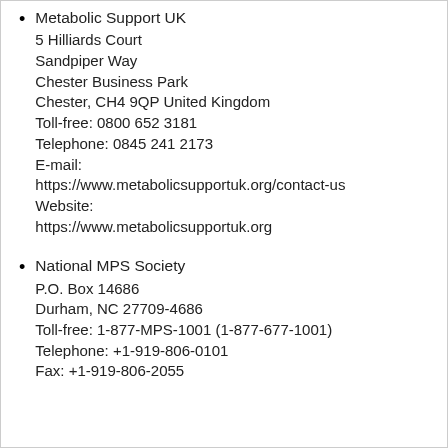Metabolic Support UK
5 Hilliards Court
Sandpiper Way
Chester Business Park
Chester, CH4 9QP United Kingdom
Toll-free: 0800 652 3181
Telephone: 0845 241 2173
E-mail: https://www.metabolicsupportuk.org/contact-us
Website: https://www.metabolicsupportuk.org
National MPS Society
P.O. Box 14686
Durham, NC 27709-4686
Toll-free: 1-877-MPS-1001 (1-877-677-1001)
Telephone: +1-919-806-0101
Fax: +1-919-806-2055